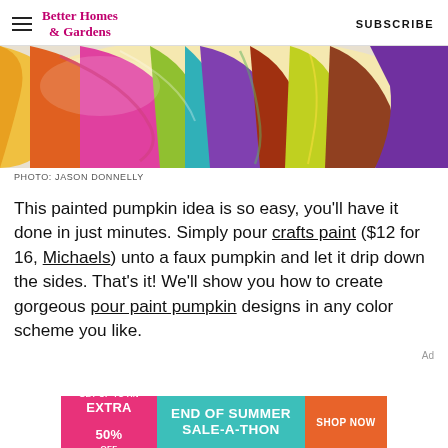Better Homes & Gardens | SUBSCRIBE
[Figure (photo): Close-up of a colorful pour-painted pumpkin with swirling multicolored paint in pink, yellow, green, purple, orange, and other colors.]
PHOTO: JASON DONNELLY
This painted pumpkin idea is so easy, you'll have it done in just minutes. Simply pour crafts paint ($12 for 16, Michaels) unto a faux pumpkin and let it drip down the sides. That's it! We'll show you how to create gorgeous pour paint pumpkin designs in any color scheme you like.
[Figure (infographic): Banner advertisement: GET UP TO AN EXTRA 50% OFF | END OF SUMMER SALE-A-THON | SHOP NOW]